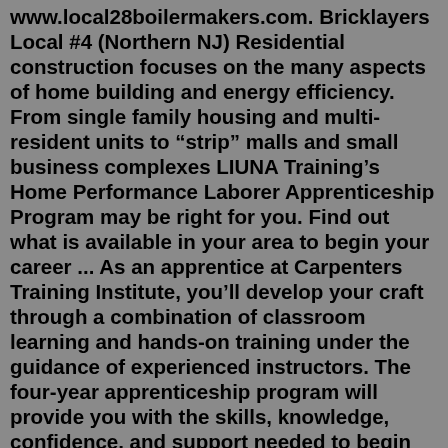www.local28boilermakers.com. Bricklayers Local #4 (Northern NJ) Residential construction focuses on the many aspects of home building and energy efficiency. From single family housing and multi-resident units to “strip” malls and small business complexes LIUNA Training’s Home Performance Laborer Apprenticeship Program may be right for you. Find out what is available in your area to begin your career ... As an apprentice at Carpenters Training Institute, you’ll develop your craft through a combination of classroom learning and hands-on training under the guidance of experienced instructors. The four-year apprenticeship program will provide you with the skills, knowledge, confidence, and support needed to begin your career as a journeyworker. % Building Careers and Community. Constructing Hope’s mission is to rebuild the lives of people in our community by encouraging self-sufficiency through skills training and education in the construction industry. We provide no-cost, ten-week construction